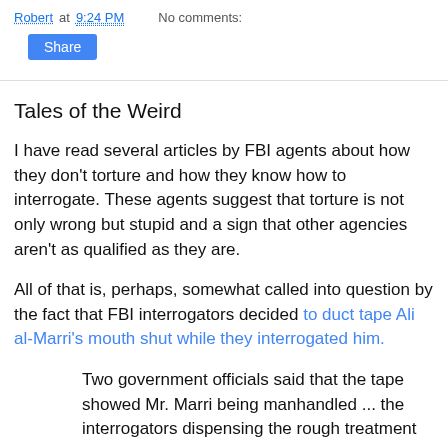Robert at 9:24 PM   No comments:
Share
Tales of the Weird
I have read several articles by FBI agents about how they don't torture and how they know how to interrogate. These agents suggest that torture is not only wrong but stupid and a sign that other agencies aren't as qualified as they are.
All of that is, perhaps, somewhat called into question by the fact that FBI interrogators decided to duct tape Ali al-Marri's mouth shut while they interrogated him.
Two government officials said that the tape showed Mr. Marri being manhandled ... the interrogators dispensing the rough treatment on